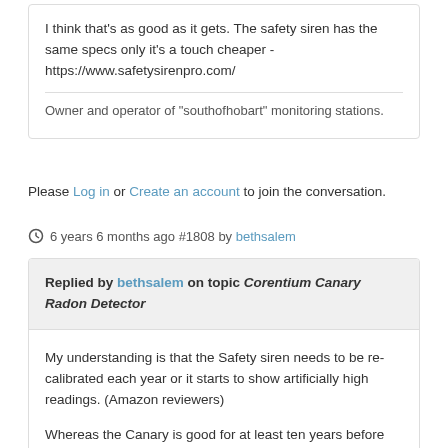I think that's as good as it gets. The safety siren has the same specs only it's a touch cheaper - https://www.safetysirenpro.com/
Owner and operator of "southofhobart" monitoring stations.
Please Log in or Create an account to join the conversation.
6 years 6 months ago #1808 by bethsalem
Replied by bethsalem on topic Corentium Canary Radon Detector
My understanding is that the Safety siren needs to be re-calibrated each year or it starts to show artificially high readings. (Amazon reviewers)
Whereas the Canary is good for at least ten years before recalibration (Canary website).